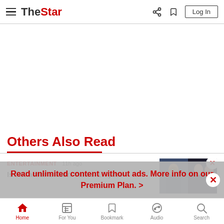The Star – navigation bar with hamburger menu, logo, share, bookmark, and Log In button
Others Also Read
ENTERTAINMENT  11h ago
Is HK actor Simon Yam's 17-year-
[Figure (photo): Thumbnail images of people including entertainment personalities]
Read unlimited content without ads. More info on our Premium Plan. >
Home  For You  Bookmark  Audio  Search